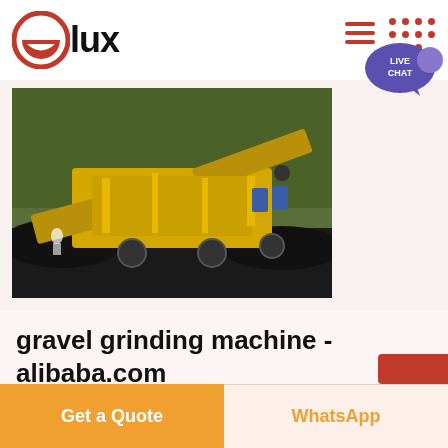[Figure (logo): Olux logo: red circle with white smile icon, followed by bold text 'lux']
[Figure (photo): Yellow industrial gravel grinding/screening machine outdoors with trees in background]
gravel grinding machine - alibaba.com
Get a Quote
WhatsApp